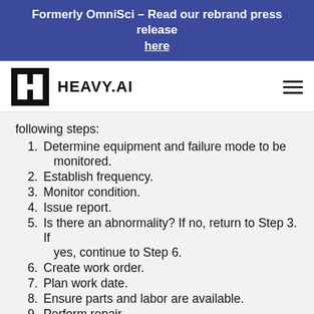Formerly OmniSci – Read our rebrand press release here
[Figure (logo): HEAVY.AI logo with black H-shaped icon and bold HEAVY.AI text, navigation bar with hamburger menu icon]
following steps:
1. Determine equipment and failure mode to be monitored.
2. Establish frequency.
3. Monitor condition.
4. Issue report.
5. Is there an abnormality? If no, return to Step 3. If yes, continue to Step 6.
6. Create work order.
7. Plan work date.
8. Ensure parts and labor are available.
9. Perform repair.
10. Close work order and return to Step 3.